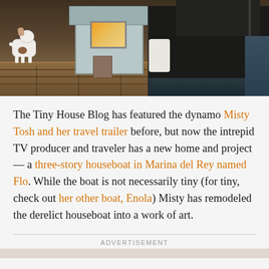[Figure (photo): A dock scene showing a small dog on wooden planks, a tiny house or structure with warm interior light, and a large dark houseboat hull moored at a marina.]
The Tiny House Blog has featured the dynamo Misty Tosh and her travel trailer before, but now the intrepid TV producer and traveler has a new home and project — a three-story houseboat in Marina del Rey named Flo. While the boat is not necessarily tiny (for tiny, check out her other boat, Enola) Misty has remodeled the derelict houseboat into a work of art.
ADVERTISEMENT